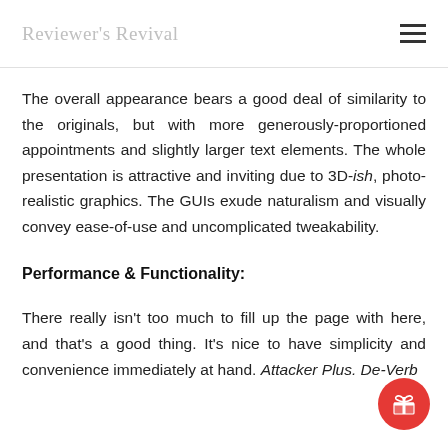Reviewer's Revival
The overall appearance bears a good deal of similarity to the originals, but with more generously-proportioned appointments and slightly larger text elements. The whole presentation is attractive and inviting due to 3D-ish, photo-realistic graphics. The GUIs exude naturalism and visually convey ease-of-use and uncomplicated tweakability.
Performance & Functionality:
There really isn't too much to fill up the page with here, and that's a good thing. It's nice to have simplicity and convenience immediately at hand. Attacker Plus. De-Verb